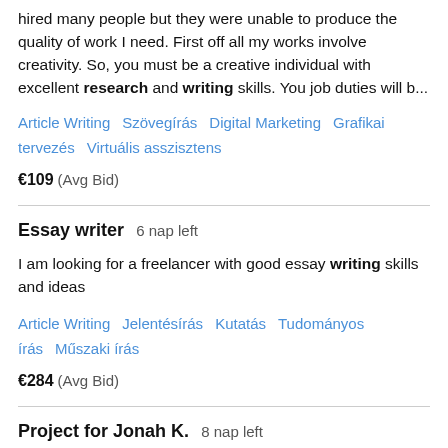hired many people but they were unable to produce the quality of work I need. First off all my works involve creativity. So, you must be a creative individual with excellent research and writing skills. You job duties will b...
Article Writing   Szövegírás   Digital Marketing   Grafikai tervezés   Virtuális asszisztens
€109  (Avg Bid)
Essay writer  6 nap left
I am looking for a freelancer with good essay writing skills and ideas
Article Writing   Jelentésírás   Kutatás   Tudományos írás   Műszaki írás
€284  (Avg Bid)
Project for Jonah K.  8 nap left